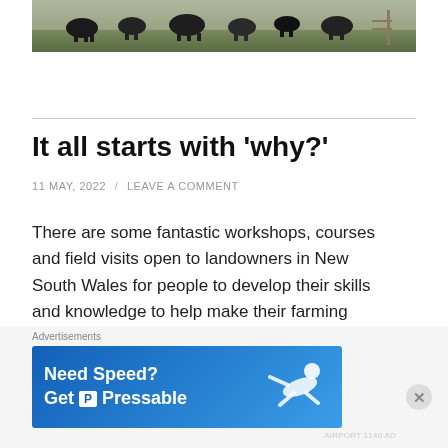[Figure (photo): Photograph of cows in a field, partial view at top of page]
It all starts with 'why?'
11 MAY, 2022  /  LEAVE A COMMENT
There are some fantastic workshops, courses and field visits open to landowners in New South Wales for people to develop their skills and knowledge to help make their farming enterprises more healthy, and profitable. To get the most out of these opportunities it
[Figure (infographic): Advertisement banner: 'Need Speed? Get P Pressable' on blue background with figure of person flying]